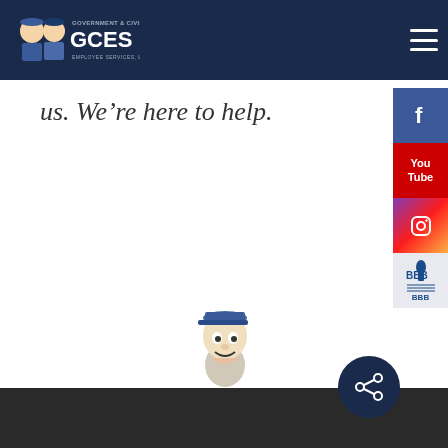GCES - Government & Civil Employee Services, LLC
us. We’re here to help.
[Figure (illustration): GCES mascot character - cartoon figure wearing a blue cap]
GCES
[Figure (other): Social media sidebar icons: Facebook, YouTube, Instagram, BBB]
[Figure (other): Share button circle at bottom right]